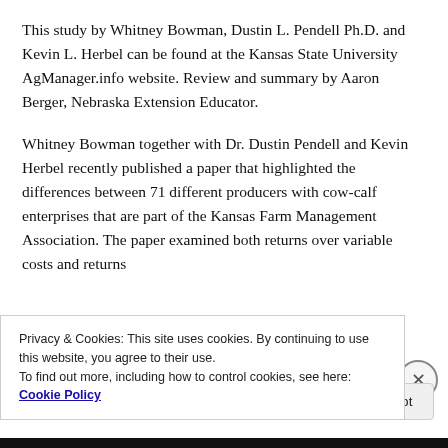This study by Whitney Bowman, Dustin L. Pendell Ph.D. and Kevin L. Herbel can be found at the Kansas State University AgManager.info website. Review and summary by Aaron Berger, Nebraska Extension Educator.
Whitney Bowman together with Dr. Dustin Pendell and Kevin Herbel recently published a paper that highlighted the differences between 71 different producers with cow-calf enterprises that are part of the Kansas Farm Management Association. The paper examined both returns over variable costs and returns
Privacy & Cookies: This site uses cookies. By continuing to use this website, you agree to their use.
To find out more, including how to control cookies, see here: Cookie Policy
Close and accept